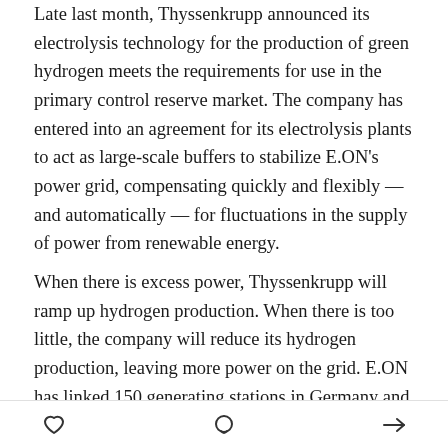Late last month, Thyssenkrupp announced its electrolysis technology for the production of green hydrogen meets the requirements for use in the primary control reserve market. The company has entered into an agreement for its electrolysis plants to act as large-scale buffers to stabilize E.ON's power grid, compensating quickly and flexibly — and automatically — for fluctuations in the supply of power from renewable energy.
When there is excess power, Thyssenkrupp will ramp up hydrogen production. When there is too little, the company will reduce its hydrogen production, leaving more power on the grid. E.ON has linked 150 generating stations in Germany and the UK in a virtual power plant. The buffering effectively stores excess
♡  ○  ➤